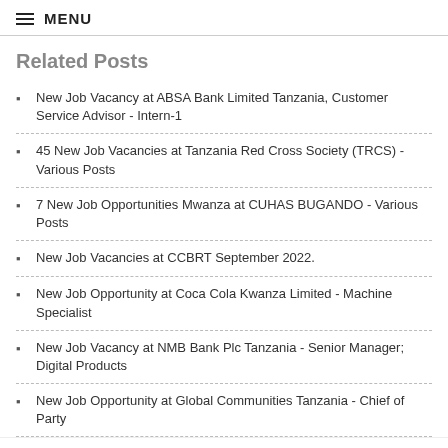≡ MENU
Related Posts
New Job Vacancy at ABSA Bank Limited Tanzania, Customer Service Advisor - Intern-1
45 New Job Vacancies at Tanzania Red Cross Society (TRCS) - Various Posts
7 New Job Opportunities Mwanza at CUHAS BUGANDO - Various Posts
New Job Vacancies at CCBRT September 2022.
New Job Opportunity at Coca Cola Kwanza Limited - Machine Specialist
New Job Vacancy at NMB Bank Plc Tanzania - Senior Manager; Digital Products
New Job Opportunity at Global Communities Tanzania - Chief of Party
INSTALL APP YETU ⇒ BONYEZA HAPA
Monitoring, Evaluation, and Learning Director